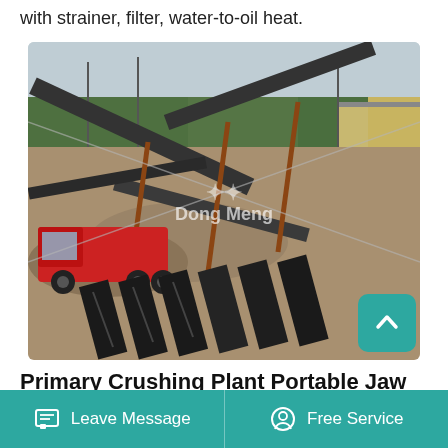with strainer, filter, water-to-oil heat.
[Figure (photo): Aerial/elevated view of a large outdoor primary crushing plant facility with conveyor belts, a red truck, heavy machinery, and a 'Dong Meng' watermark. Industrial quarry/mining processing site with trees and buildings in background.]
Primary Crushing Plant Portable Jaw Crusher Wheeled
Leave Message   Free Service